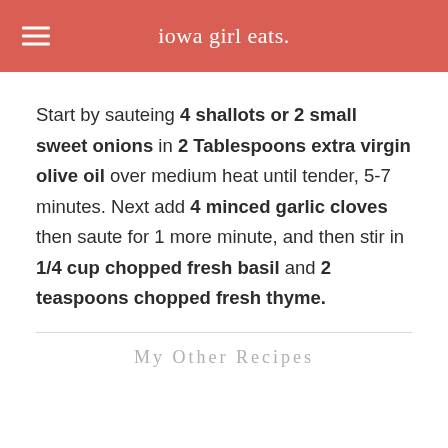iowa girl eats.
Start by sauteing 4 shallots or 2 small sweet onions in 2 Tablespoons extra virgin olive oil over medium heat until tender, 5-7 minutes. Next add 4 minced garlic cloves then saute for 1 more minute, and then stir in 1/4 cup chopped fresh basil and 2 teaspoons chopped fresh thyme.
My Other Recipes